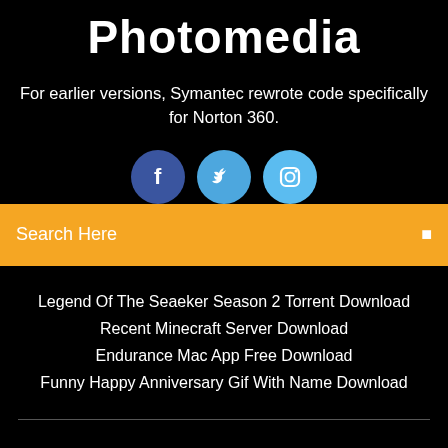Photomedia
For earlier versions, Symantec rewrote code specifically for Norton 360.
[Figure (other): Three social media icon circles: Facebook (dark blue), Twitter (medium blue), Instagram (light blue)]
Search Here
Legend Of The Seaeker Season 2 Torrent Download
Recent Minecraft Server Download
Endurance Mac App Free Download
Funny Happy Anniversary Gif With Name Download
Copyright ©2022 All rights reserved